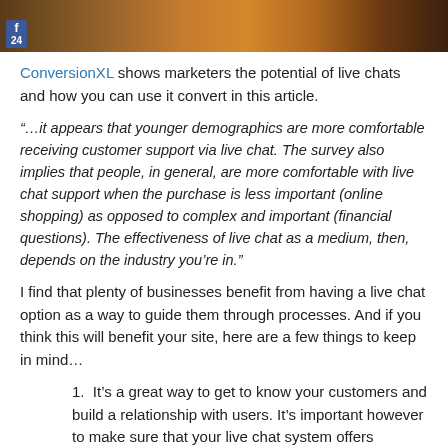[Figure (photo): Cropped photo of people with warm orange/brown tones, with a Facebook like badge overlay in the bottom-left corner showing 'f' and '24']
ConversionXL shows marketers the potential of live chats and how you can use it convert in this article.
“…it appears that younger demographics are more comfortable receiving customer support via live chat. The survey also implies that people, in general, are more comfortable with live chat support when the purchase is less important (online shopping) as opposed to complex and important (financial questions). The effectiveness of live chat as a medium, then, depends on the industry you’re in.”
I find that plenty of businesses benefit from having a live chat option as a way to guide them through processes. And if you think this will benefit your site, here are a few things to keep in mind…
1. It’s a great way to get to know your customers and build a relationship with users. It’s important however to make sure that your live chat system offers exceptional customer experience, otherwise, it will just reflect badly on your